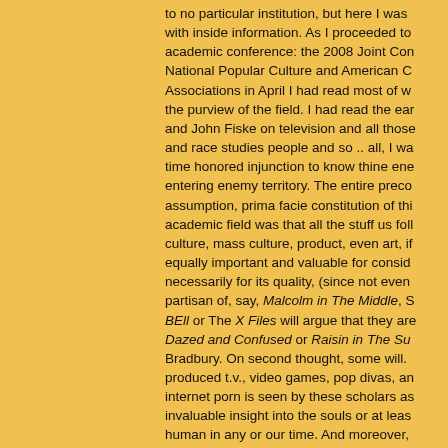to no particular institution, but here I was with inside information. As I proceeded to academic conference: the 2008 Joint Con National Popular Culture and American C Associations in April I had read most of w the purview of the field. I had read the ear and John Fiske on television and all those and race studies people and so .. all, I wa time honored injunction to know thine ene entering enemy territory. The entire preco assumption, prima facie constitution of thi academic field was that all the stuff us fol culture, mass culture, product, even art, if equally important and valuable for consid necessarily for its quality, (since not even partisan of, say, Malcolm in The Middle, S BEll or The X Files will argue that they are Dazed and Confused or Raisin in The Su Bradbury. On second thought, some will. produced t.v., video games, pop divas, an internet porn is seen by these scholars as invaluable insight into the souls or at leas human in any or our time. And moreover, to be no grounds for exclusions of any ki hierarchies since such ranking is thought